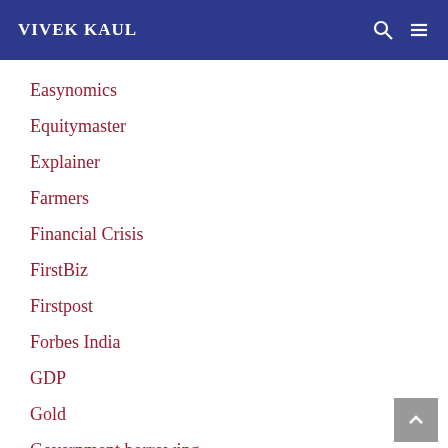VIVEK KAUL
Easynomics
Equitymaster
Explainer
Farmers
Financial Crisis
FirstBiz
Firstpost
Forbes India
GDP
Gold
Government borrowing
GST